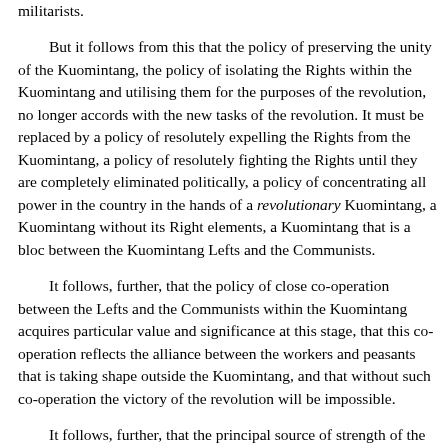militarists.
But it follows from this that the policy of preserving the unity of the Kuomintang, the policy of isolating the Rights within the Kuomintang and utilising them for the purposes of the revolution, no longer accords with the new tasks of the revolution. It must be replaced by a policy of resolutely expelling the Rights from the Kuomintang, a policy of resolutely fighting the Rights until they are completely eliminated politically, a policy of concentrating all power in the country in the hands of a revolutionary Kuomintang, a Kuomintang without its Right elements, a Kuomintang that is a bloc between the Kuomintang Lefts and the Communists.
It follows, further, that the policy of close co-operation between the Lefts and the Communists within the Kuomintang acquires particular value and significance at this stage, that this co-operation reflects the alliance between the workers and peasants that is taking shape outside the Kuomintang, and that without such co-operation the victory of the revolution will be impossible.
It follows, further, that the principal source of strength of the revolutionary Kuomintang lies in the further development of the revolutionary movement of the workers